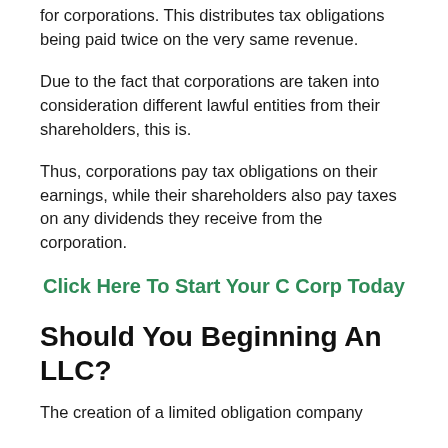for corporations. This distributes tax obligations being paid twice on the very same revenue.
Due to the fact that corporations are taken into consideration different lawful entities from their shareholders, this is.
Thus, corporations pay tax obligations on their earnings, while their shareholders also pay taxes on any dividends they receive from the corporation.
Click Here To Start Your C Corp Today
Should You Beginning An LLC?
The creation of a limited obligation company